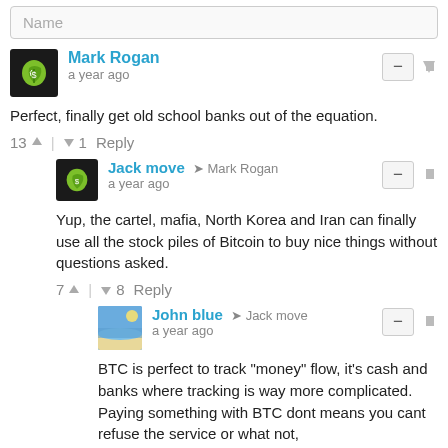Name
Mark Rogan · a year ago
Perfect, finally get old school banks out of the equation.
13 ↑ | ↓ 1  Reply
Jack move → Mark Rogan · a year ago
Yup, the cartel, mafia, North Korea and Iran can finally use all the stock piles of Bitcoin to buy nice things without questions asked.
7 ↑ | ↓ 8  Reply
John blue → Jack move · a year ago
BTC is perfect to track "money" flow, it's cash and banks where tracking is way more complicated. Paying something with BTC dont means you cant refuse the service or what not,